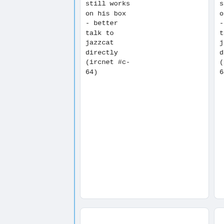still works
on his box
- better
talk to
jazzcat
directly
(ircnet #c-
64)
still works
on his box
- better
talk to
jazzcat
directly
(ircnet #c-
64)
== links ==
== links to threads containing 3.6 feedback ==
* https://csdb.dk/forums/?roomid=12&to
* https://csdb.dk/forums/?roomid=12&to